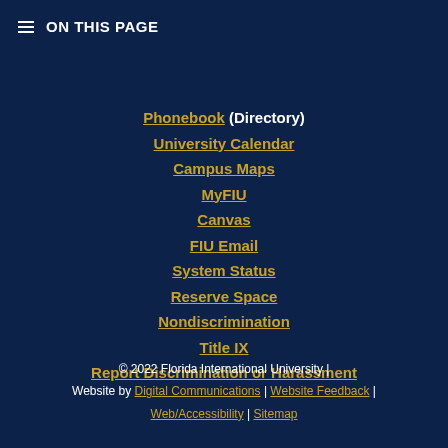≡ ON THIS PAGE
Phonebook (Directory)
University Calendar
Campus Maps
MyFIU
Canvas
FIU Email
System Status
Reserve Space
Nondiscrimination
Title IX
Report Discrimination or Harassment
© 2022 Florida International University | Website by Digital Communications | Website Feedback | Web/Accessibility | Sitemap